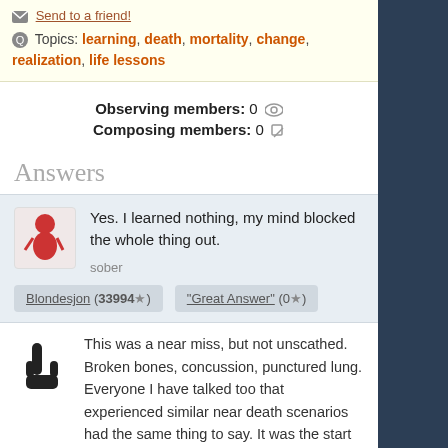Send to a friend!
Topics: learning, death, mortality, change, realization, life lessons
Observing members: 0
Composing members: 0
Answers
Yes. I learned nothing, my mind blocked the whole thing out.
sober
Blondesjon (33994★)   "Great Answer" (0★)
This was a near miss, but not unscathed. Broken bones, concussion, punctured lung. Everyone I have talked too that experienced similar near death scenarios had the same thing to say. It was the start of a new life with a genuine appreciation for life and the knowledge to revel in the beauty that is now. To understand what in life is important. It